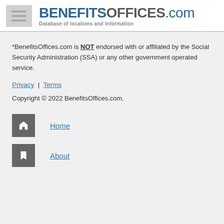BENEFITSOFFICES.com — Database of locations and information
*BenefitsOffices.com is NOT endorsed with or affiliated by the Social Security Administration (SSA) or any other government operated service.
Privacy | Terms
Copyright © 2022 BenefitsOffices.com.
Home
About